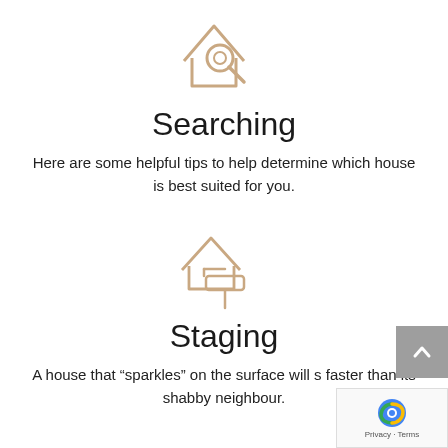[Figure (illustration): House with magnifying glass icon in tan/beige outline style]
Searching
Here are some helpful tips to help determine which house is best suited for you.
[Figure (illustration): House with paint roller icon in tan/beige outline style]
Staging
A house that “sparkles” on the surface will s faster than its shabby neighbour.